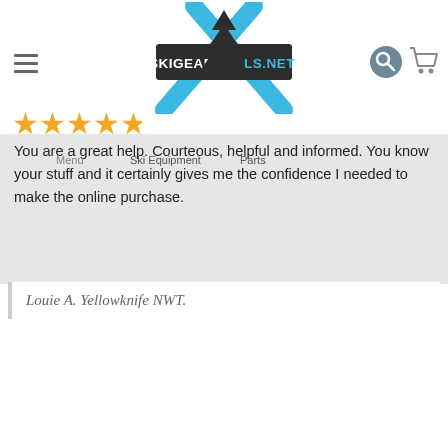[Figure (logo): SkiGearDeals.net logo with crossed blue ski poles and dark banner]
[Figure (other): Five gold star rating]
You are a great help. Courteous, helpful and informed. You know your stuff and it certainly gives me the confidence I needed to make the online purchase.
Louie A. Yellowknife NWT.